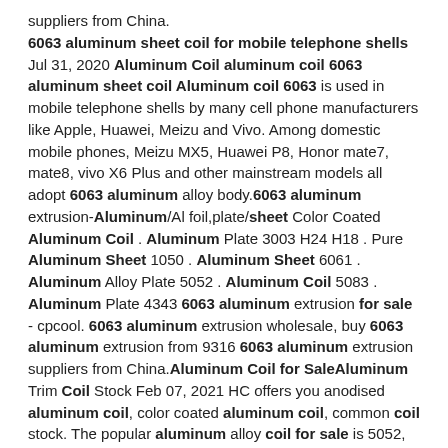suppliers from China. 6063 aluminum sheet coil for mobile telephone shells Jul 31, 2020 Aluminum Coil aluminum coil 6063 aluminum sheet coil Aluminum coil 6063 is used in mobile telephone shells by many cell phone manufacturers like Apple, Huawei, Meizu and Vivo. Among domestic mobile phones, Meizu MX5, Huawei P8, Honor mate7, mate8, vivo X6 Plus and other mainstream models all adopt 6063 aluminum alloy body.6063 aluminum extrusion-Aluminum/Al foil,plate/sheet Color Coated Aluminum Coil . Aluminum Plate 3003 H24 H18 . Pure Aluminum Sheet 1050 . Aluminum Sheet 6061 . Aluminum Alloy Plate 5052 . Aluminum Coil 5083 . Aluminum Plate 4343 6063 aluminum extrusion for sale - cpcool. 6063 aluminum extrusion wholesale, buy 6063 aluminum extrusion from 9316 6063 aluminum extrusion suppliers from China.Aluminum Coil for SaleAluminum Trim Coil Stock Feb 07, 2021 HC offers you anodised aluminum coil, color coated aluminum coil, common coil stock. The popular aluminum alloy coil for sale is 5052, 6061,7075, 1100,etc. Inquire now for your need! HC aluminum coil with kraft paper has comprehensive range of thickness of 0.2-2.0 mm and different lengths like 20 meter, 30 meter,etc. Aluminum Coil for SaleAluminum Trim Coil Stock Feb 07, 2021 HC offers you anodised aluminum coil, aluminum coil,